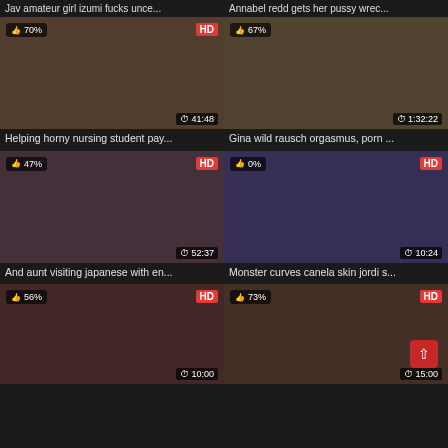Jav amateur girl izumi fucks unce...
Annabel redd gets her pussy wrec...
[Figure (screenshot): Video thumbnail with like badge 70%, HD badge, duration 41:48]
[Figure (screenshot): Video thumbnail with like badge 67%, duration 1:32:22]
Helping horny nursing student pay...
Gina wild rausch orgasmus, porn ...
[Figure (screenshot): Video thumbnail with like badge 47%, HD badge, duration 52:37]
[Figure (screenshot): Video thumbnail with like badge 0%, HD badge, duration 10:24]
And aunt visiting japanese with en...
Monster curves canela skin jordi s...
[Figure (screenshot): Video thumbnail with like badge 56%, HD badge, duration 10:00]
[Figure (screenshot): Video thumbnail with like badge 73%, HD badge, duration 15:00]